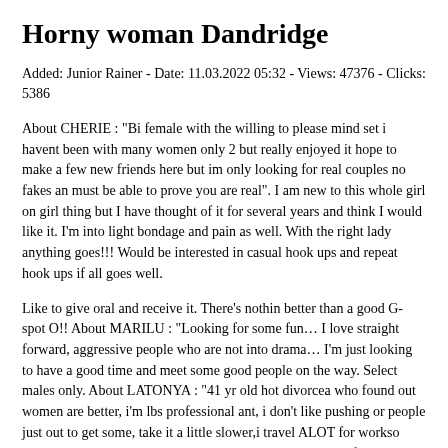Horny woman Dandridge
Added: Junior Rainer - Date: 11.03.2022 05:32 - Views: 47376 - Clicks: 5386
About CHERIE : "Bi female with the willing to please mind set i havent been with many women only 2 but really enjoyed it hope to make a few new friends here but im only looking for real couples no fakes an must be able to prove you are real". I am new to this whole girl on girl thing but I have thought of it for several years and think I would like it. I'm into light bondage and pain as well. With the right lady anything goes!!! Would be interested in casual hook ups and repeat hook ups if all goes well.
Like to give oral and receive it. There's nothin better than a good G-spot O!! About MARILU : "Looking for some fun… I love straight forward, aggressive people who are not into drama… I'm just looking to have a good time and meet some good people on the way. Select males only. About LATONYA : "41 yr old hot divorcea who found out women are better, i'm lbs professional ant, i don't like pushing or people just out to get some, take it a little slower,i travel ALOT for workso coming to you is no problem". Getting to know each other first is a must!